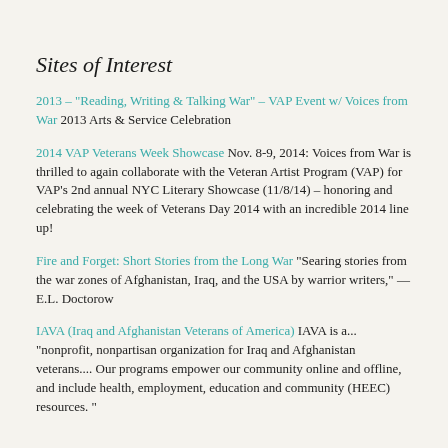Sites of Interest
2013 – "Reading, Writing & Talking War" – VAP Event w/ Voices from War 2013 Arts & Service Celebration
2014 VAP Veterans Week Showcase Nov. 8-9, 2014: Voices from War is thrilled to again collaborate with the Veteran Artist Program (VAP) for VAP's 2nd annual NYC Literary Showcase (11/8/14) – honoring and celebrating the week of Veterans Day 2014 with an incredible 2014 line up!
Fire and Forget: Short Stories from the Long War "Searing stories from the war zones of Afghanistan, Iraq, and the USA by warrior writers," —E.L. Doctorow
IAVA (Iraq and Afghanistan Veterans of America) IAVA is a... "nonprofit, nonpartisan organization for Iraq and Afghanistan veterans.... Our programs empower our community online and offline, and include health, employment, education and community (HEEC) resources. "